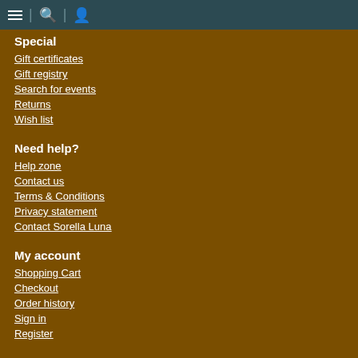Navigation bar with menu, search, and account icons
Special
Gift certificates
Gift registry
Search for events
Returns
Wish list
Need help?
Help zone
Contact us
Terms & Conditions
Privacy statement
Contact Sorella Luna
My account
Shopping Cart
Checkout
Order history
Sign in
Register